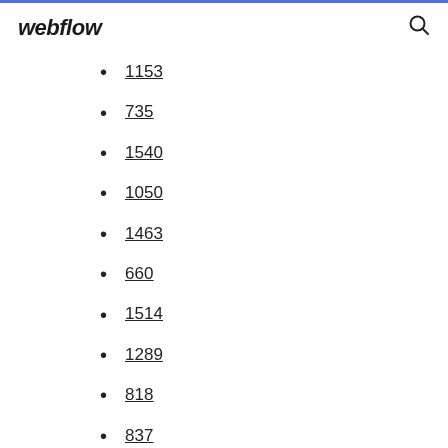webflow
1153
735
1540
1050
1463
660
1514
1289
818
837
1820
1187